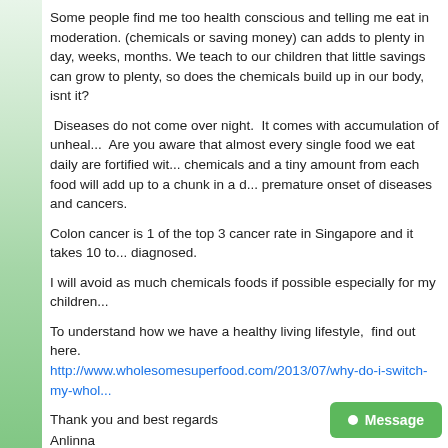Some people find me too health conscious and telling me eat in moderation. (chemicals or saving money) can adds to plenty in day, weeks, months. We teach to our children that little savings can grow to plenty, so does the chemicals build up in our body, isnt it?
Diseases do not come over night. It comes with accumulation of unhealthy habits. Are you aware that almost every single food we eat daily are fortified with chemicals and a tiny amount from each food will add up to a chunk in a day, causing premature onset of diseases and cancers.
Colon cancer is 1 of the top 3 cancer rate in Singapore and it takes 10 to 15 years to be diagnosed.
I will avoid as much chemicals foods if possible especially for my children.
To understand how we have a healthy living lifestyle, find out here. http://www.wholesomesuperfood.com/2013/07/why-do-i-switch-my-whol...
Thank you and best regards
Anlinna
Health trainer / coach / speaker
97919279
Facebook